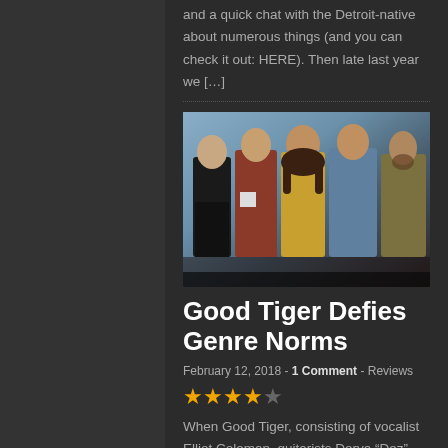and a quick chat with the Detroit-native about numerous things (and you can check it out: HERE). Then late last year we [...]
[Figure (photo): Band photo of Good Tiger — five men standing against a grey-blue studio background. From left to right: man in black jacket, man in red/rust jacket with white shirt, man in yellow shirt with long hair, man in blue sweater, man in olive/khaki jacket.]
Good Tiger Defies Genre Norms
February 12, 2018 - 1 Comment - Reviews
★★★★☆
When Good Tiger, consisting of vocalist Elliot Coleman, guitarists Derya "Dez" Nagle and